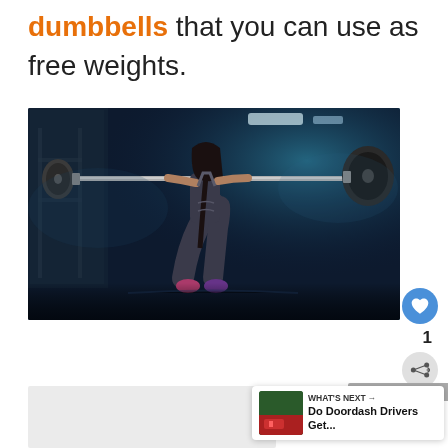dumbbells that you can use as free weights.
[Figure (photo): A fit woman performing a squat with a barbell on her shoulders in a dark gym with blue atmospheric lighting]
[Figure (photo): Partially visible image at bottom of page]
WHAT'S NEXT → Do Doordash Drivers Get...